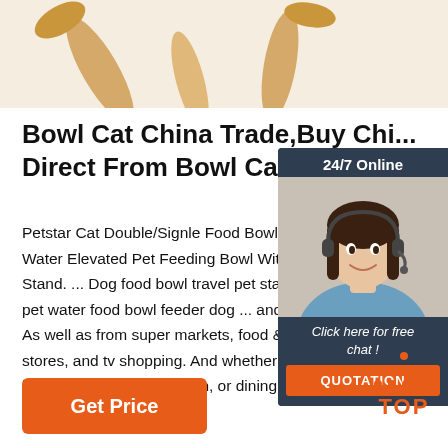[Figure (photo): Photo of wooden spoons/spatulas on a white background, partially cropped at the top of the page.]
Bowl Cat China Trade,Buy China Direct From Bowl Cat ...
Petstar Cat Double/Signle Food Bowl Water Elevated Pet Feeding Bowl With Stand. ... Dog food bowl travel pet sta... pet water food bowl feeder dog ... and... As well as from super markets, food &... stores, and tv shopping. And whether... indoor and outdoor, kitchen, or dining room. There are ...
[Figure (photo): 24/7 Online chat widget with a smiling female customer service agent wearing a headset, overlaid on a dark blue-grey panel. Contains 'Click here for free chat!' text and an orange QUOTATION button.]
[Figure (other): Orange TOP button with dots arranged in a triangle above the word TOP.]
Get Price